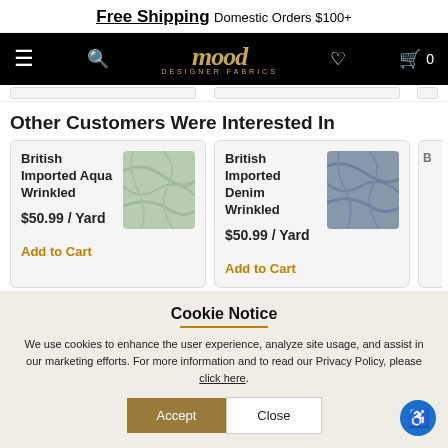Free Shipping Domestic Orders $100+
[Figure (screenshot): Mood Designer Fabrics navigation bar with hamburger menu, search icon, logo, heart icon, cart icon showing 0 items]
Other Customers Were Interested In
British Imported Aqua Wrinkled
$50.99 / Yard
Add to Cart
British Imported Denim Wrinkled
$50.99 / Yard
Add to Cart
Cookie Notice
We use cookies to enhance the user experience, analyze site usage, and assist in our marketing efforts. For more information and to read our Privacy Policy, please click here.
Accept   Close